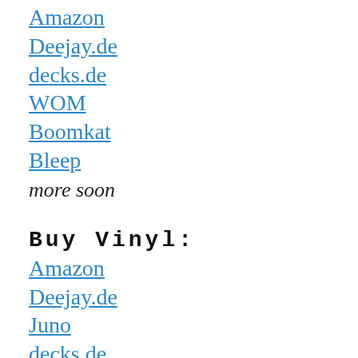Amazon
Deejay.de
decks.de
WOM
Boomkat
Bleep
more soon
Buy Vinyl:
Amazon
Deejay.de
Juno
decks.de
WOM
HHV